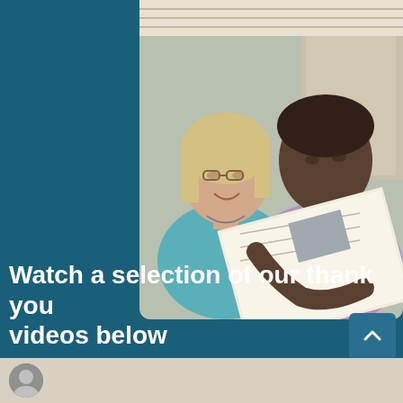[Figure (photo): An elderly white woman with blonde hair and glasses wearing a teal top, and a Black man in a purple dress shirt and tie, both looking at and holding an open document/brochure together, photographed indoors near a door.]
Watch a selection of our thank you videos below